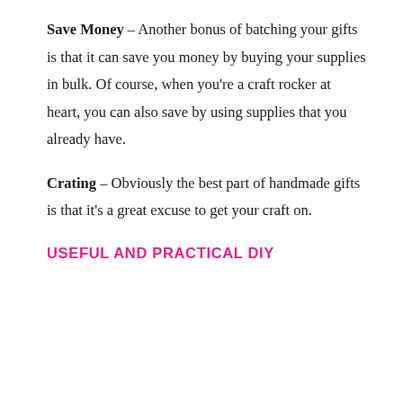Save Money – Another bonus of batching your gifts is that it can save you money by buying your supplies in bulk. Of course, when you're a craft rocker at heart, you can also save by using supplies that you already have.
Crating – Obviously the best part of handmade gifts is that it's a great excuse to get your craft on.
USEFUL AND PRACTICAL DIY